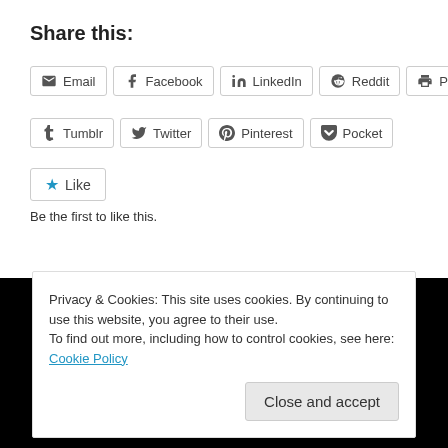Share this:
Email | Facebook | LinkedIn | Reddit | Print | Tumblr | Twitter | Pinterest | Pocket
Like  Be the first to like this.
April 15, 2013
Privacy & Cookies: This site uses cookies. By continuing to use this website, you agree to their use.
To find out more, including how to control cookies, see here: Cookie Policy